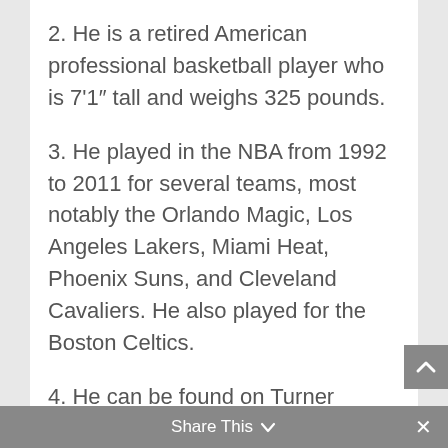2. He is a retired American professional basketball player who is 7'1" tall and weighs 325 pounds.
3. He played in the NBA from 1992 to 2011 for several teams, most notably the Orlando Magic, Los Angeles Lakers, Miami Heat, Phoenix Suns, and Cleveland Cavaliers. He also played for the Boston Celtics.
4. He can be found on Turner Network Television (TNT) as an analyst.
Share This ∨  ×